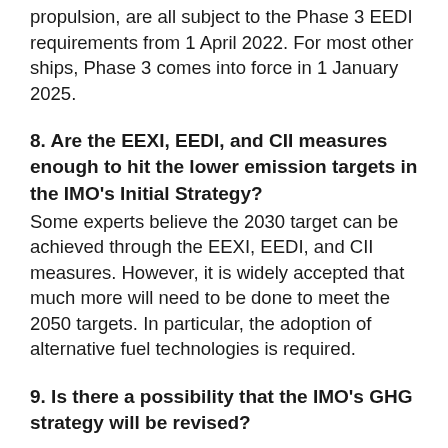propulsion, are all subject to the Phase 3 EEDI requirements from 1 April 2022. For most other ships, Phase 3 comes into force in 1 January 2025.
8. Are the EEXI, EEDI, and CII measures enough to hit the lower emission targets in the IMO's Initial Strategy?
Some experts believe the 2030 target can be achieved through the EEXI, EEDI, and CII measures. However, it is widely accepted that much more will need to be done to meet the 2050 targets. In particular, the adoption of alternative fuel technologies is required.
9. Is there a possibility that the IMO's GHG strategy will be revised?